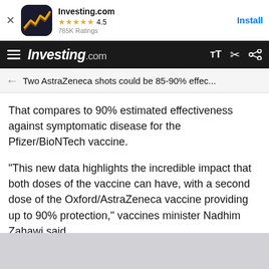[Figure (screenshot): Investing.com app install banner with icon, 4.5 star rating, 785K Ratings, and Install button]
Investing.com
Two AstraZeneca shots could be 85-90% effec...
That compares to 90% estimated effectiveness against symptomatic disease for the Pfizer/BioNTech vaccine.
"This new data highlights the incredible impact that both doses of the vaccine can have, with a second dose of the Oxford/AstraZeneca vaccine providing up to 90% protection," vaccines minister Nadhim Zahawi said.
[Figure (other): Dark media block at bottom of article]